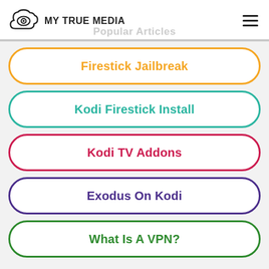MY TRUE MEDIA — Popular Articles
Firestick Jailbreak
Kodi Firestick Install
Kodi TV Addons
Exodus On Kodi
What Is A VPN?